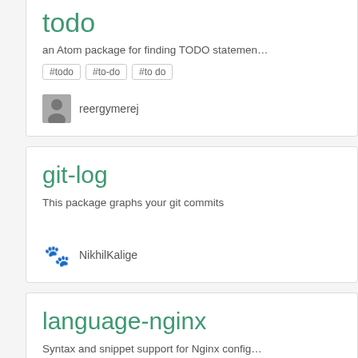todo
an Atom package for finding TODO statements
#todo
#to-do
#to do
reergymerej
git-log
This package graphs your git commits
NikhilKalige
language-nginx
Syntax and snippet support for Nginx configuration files